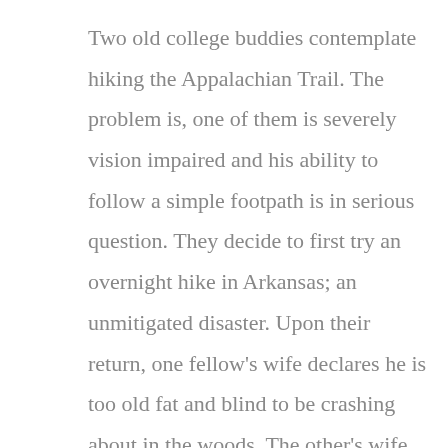Two old college buddies contemplate hiking the Appalachian Trail. The problem is, one of them is severely vision impaired and his ability to follow a simple footpath is in serious question. They decide to first try an overnight hike in Arkansas; an unmitigated disaster. Upon their return, one fellow's wife declares he is too old fat and blind to be crashing about in the woods. The other's wife notes how lucky they are to have learned their lesson before